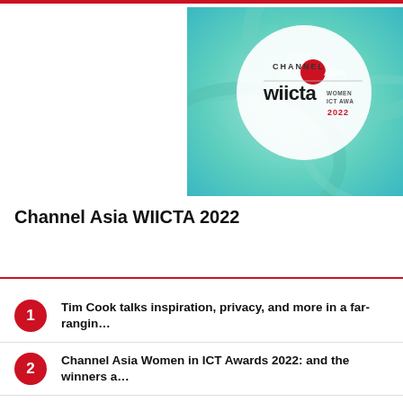[Figure (logo): Channel Asia WIICTA 2022 award badge with teal swirl background, white circle, red dot Channel Asia logo, and 'wiicta Women ICT Awards 2022' text]
Channel Asia WIICTA 2022
Tim Cook talks inspiration, privacy, and more in a far-rangin…
Channel Asia Women in ICT Awards 2022: and the winners a…
Alfred Goh to lead new NCS enterprise business unit